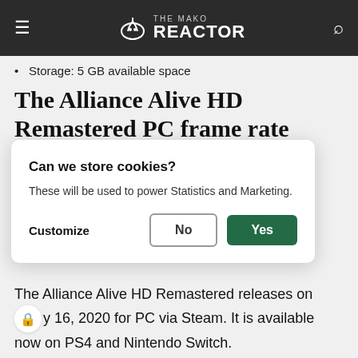THE MAKO REACTOR
Storage: 5 GB available space
The Alliance Alive HD Remastered PC frame rate
Can we store cookies?
These will be used to power Statistics and Marketing.
Customize   No   Yes
The Alliance Alive HD Remastered releases on January 16, 2020 for PC via Steam. It is available now on PS4 and Nintendo Switch.